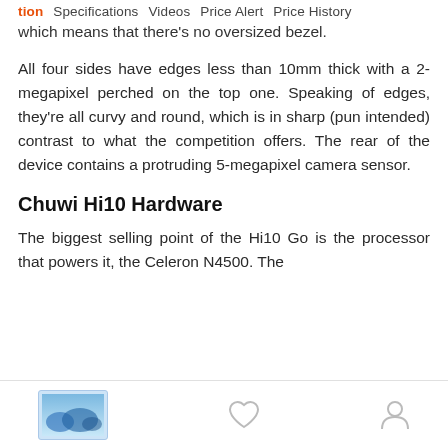tion  Specifications  Videos  Price Alert  Price History
which means that there's no oversized bezel.
All four sides have edges less than 10mm thick with a 2-megapixel perched on the top one. Speaking of edges, they're all curvy and round, which is in sharp (pun intended) contrast to what the competition offers. The rear of the device contains a protruding 5-megapixel camera sensor.
Chuwi Hi10 Hardware
The biggest selling point of the Hi10 Go is the processor that powers it, the Celeron N4500. The